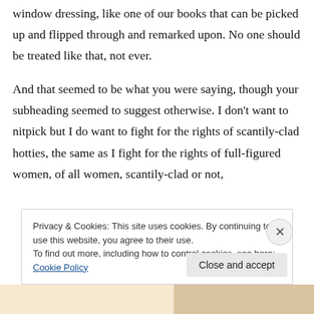window dressing, like one of our books that can be picked up and flipped through and remarked upon. No one should be treated like that, not ever.
And that seemed to be what you were saying, though your subheading seemed to suggest otherwise. I don't want to nitpick but I do want to fight for the rights of scantily-clad hotties, the same as I fight for the rights of full-figured women, of all women, scantily-clad or not,
Privacy & Cookies: This site uses cookies. By continuing to use this website, you agree to their use.
To find out more, including how to control cookies, see here: Cookie Policy